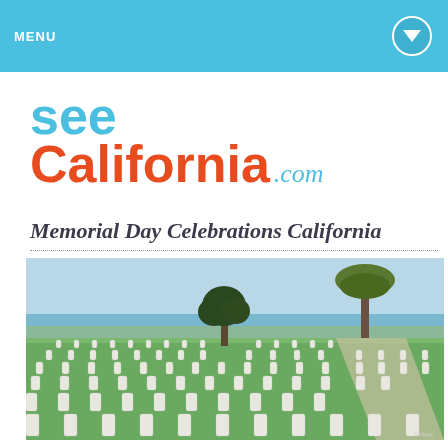MENU
[Figure (logo): SeeCaliforna.com logo with 'see' in light blue and 'California' in orange-red, '.com' in light blue italic]
Memorial Day Celebrations California
[Figure (photo): Cemetery with rows of white gravestones on green grass overlooking the ocean with trees in background — Fort Rosecrans National Cemetery, San Diego, California]